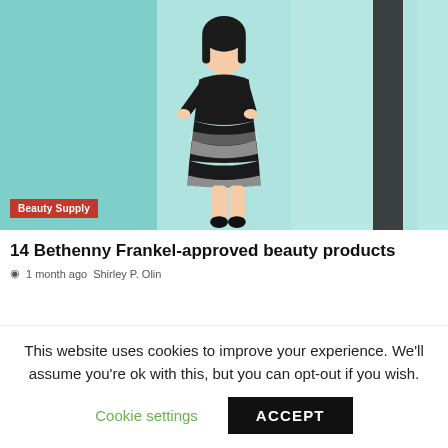[Figure (photo): Woman in black top and black-and-white chevron skirt standing on teal/mint background]
Beauty Supply
14 Bethenny Frankel-approved beauty products
1 month ago  Shirley P. Olin
[Figure (photo): Close-up of a woman with dark red hair and red lipstick]
Beauty Supply
Beauty YouTuber Forced to Carry Dead Fetus for 2 Weeks After Miscarriage Due
This website uses cookies to improve your experience. We'll assume you're ok with this, but you can opt-out if you wish.
Cookie settings  ACCEPT